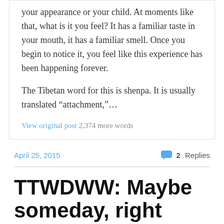your appearance or your child. At moments like that, what is it you feel? It has a familiar taste in your mouth, it has a familiar smell. Once you begin to notice it, you feel like this experience has been happening forever.
The Tibetan word for this is shenpa. It is usually translated “attachment,”…
View original post 2,374 more words
April 25, 2015
2 Replies
TTWDWW: Maybe someday, right after You Think it Can’t get any Worse…and then it